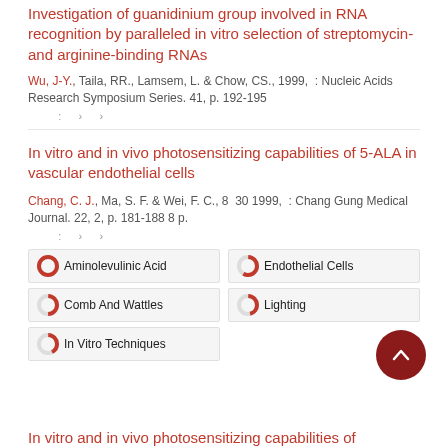Investigation of guanidinium group involved in RNA recognition by paralleled in vitro selection of streptomycin- and arginine-binding RNAs
Wu, J-Y., Taila, RR., Lamsem, L. & Chow, CS., 1999,  : Nucleic Acids Research Symposium Series. 41, p. 192-195
: › ›
In vitro and in vivo photosensitizing capabilities of 5-ALA in vascular endothelial cells
Chang, C. J., Ma, S. F. & Wei, F. C., 8  30 1999,  : Chang Gung Medical Journal. 22, 2, p. 181-188 8 p.
: › ›
Aminolevulinic Acid
Endothelial Cells
Comb And Wattles
Lighting
In Vitro Techniques
In vitro and in vivo photosensitizing capabilities of